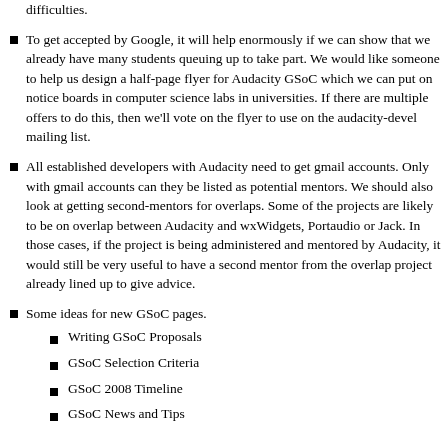difficulties.
To get accepted by Google, it will help enormously if we can show that we already have many students queuing up to take part. We would like someone to help us design a half-page flyer for Audacity GSoC which we can put on notice boards in computer science labs in universities. If there are multiple offers to do this, then we'll vote on the flyer to use on the audacity-devel mailing list.
All established developers with Audacity need to get gmail accounts. Only with gmail accounts can they be listed as potential mentors. We should also look at getting second-mentors for overlaps. Some of the projects are likely to be on overlap between Audacity and wxWidgets, Portaudio or Jack. In those cases, if the project is being administered and mentored by Audacity, it would still be very useful to have a second mentor from the overlap project already lined up to give advice.
Some ideas for new GSoC pages.
Writing GSoC Proposals
GSoC Selection Criteria
GSoC 2008 Timeline
GSoC News and Tips